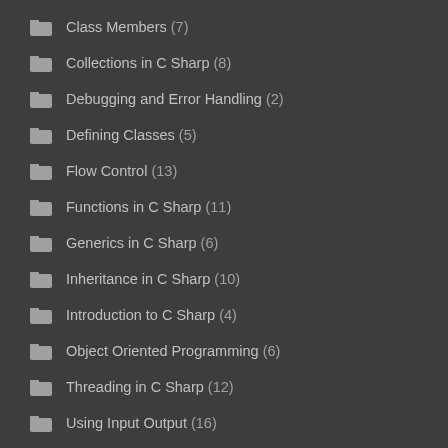Class Members (7)
Collections in C Sharp (8)
Debugging and Error Handling (2)
Defining Classes (5)
Flow Control (13)
Functions in C Sharp (11)
Generics in C Sharp (6)
Inheritance in C Sharp (10)
Introduction to C Sharp (4)
Object Oriented Programming (6)
Threading in C Sharp (12)
Using Input Output (16)
Variables and Expressions (10)